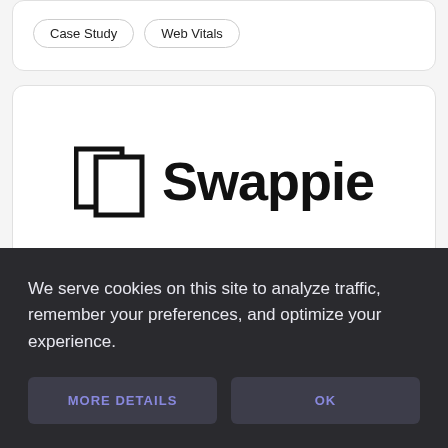Case Study
Web Vitals
[Figure (logo): Swappie logo: two overlapping rectangles icon on the left, and the word 'Swappie' in bold black text on the right]
We serve cookies on this site to analyze traffic, remember your preferences, and optimize your experience.
MORE DETAILS
OK